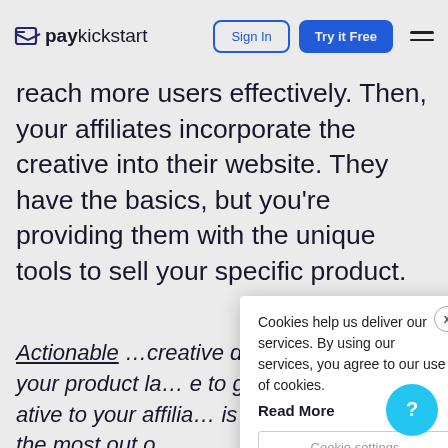PayKickstart — Sign In | Try it Free
reach more users effectively. Then, your affiliates incorporate the creative into their website. They have the basics, but you're providing them with the unique tools to sell your specific product.
Actionable [creative] designer, h[...] ll of your product la[...] e to go along with [...] ative to your affilia[...] is launched s[...] ke the most out o[...]
Cookies help us deliver our services. By using our services, you agree to our use of cookies. Read More
Cookie settings
REJECT
ACCEPT